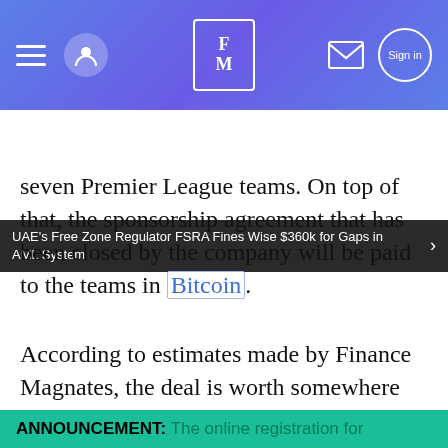FM (Finance Magnates logo)
UAE's Free Zone Regulator FSRA Fines Wise $360k for Gaps in AML System
seven Premier League teams. On top of that, the sponsorship agreement that has been closed by the company will be paid to the teams in Bitcoin.
According to estimates made by Finance Magnates, the deal is worth somewhere between £4 ($5.16 million) and £5 million ($6.45 million). As a part of the deal, eToro will partner with Tottenham Hotspur (currently ranked #5), as well as with
ANNOUNCEMENT: The online registration for